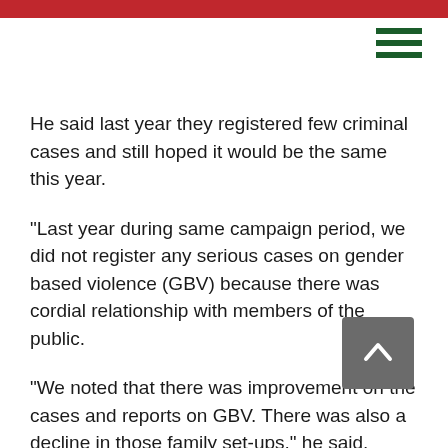[Red bar header]
He said last year they registered few criminal cases and still hoped it would be the same this year.
“Last year during same campaign period, we did not register any serious cases on gender based violence (GBV) because there was cordial relationship with members of the public.
“We noted that there was improvement on the cases and reports on GBV. There was also a decline in those family set-ups,” he said.
On road safety precaution, Mwasinga said management will engage a number of schools apart from going in their communities and religious gatherings, saying they do not want to leave out any group.